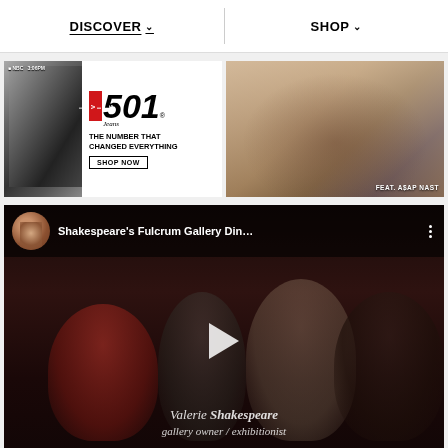DISCOVER ∨    SHOP ∨
[Figure (screenshot): Levi's 501 Jeans advertisement with black and white photo on left and '501 Jeans – The Number That Changed Everything' text with Shop Now button]
[Figure (photo): Fashion photo featuring A$AP Nast in Levi's 501 jeans, lounging on floor, labeled 'FEAT. A$AP NAST']
[Figure (screenshot): YouTube video thumbnail: Shakespeare's Fulcrum Gallery Dinner event video with dark crowd scene, play button, and lower-third text: Valerie Shakespeare, gallery owner / exhibitionist]